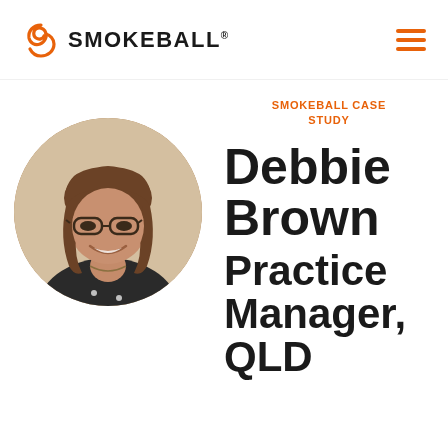SMOKEBALL.
[Figure (photo): Circular portrait photo of Debbie Brown, a woman with short brown hair and glasses, smiling, wearing a dark top with white dots]
SMOKEBALL CASE STUDY
Debbie Brown Practice Manager, QLD